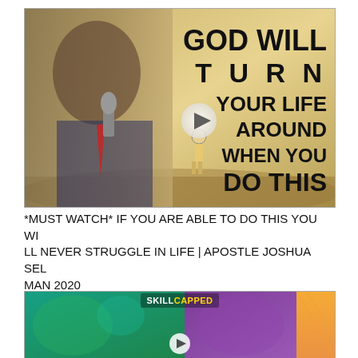[Figure (screenshot): Video thumbnail showing a man speaking into a microphone on the left, and bold text on a sandy/desert background reading 'GOD WILL TURN YOUR LIFE AROUND WHEN YOU DO THIS' with a play button overlay]
*MUST WATCH* IF YOU ARE ABLE TO DO THIS YOU WILL NEVER STRUGGLE IN LIFE | APOSTLE JOSHUA SELMAN 2020
[Figure (screenshot): SkillCapped gaming video thumbnail showing fantasy/game characters on teal and purple backgrounds with orange stripe on right]